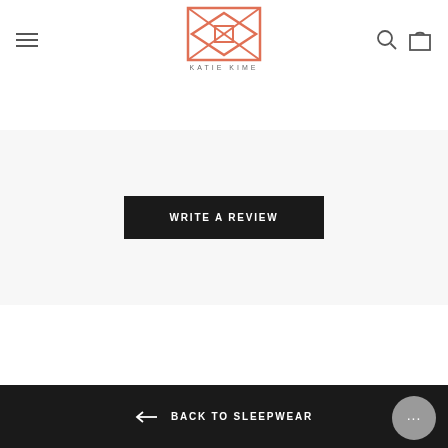Katie Kime — navigation header with hamburger menu, logo, search and cart icons
[Figure (logo): Katie Kime geometric logo in coral/salmon color with text KATIE KIME below]
WRITE A REVIEW
← BACK TO SLEEPWEAR